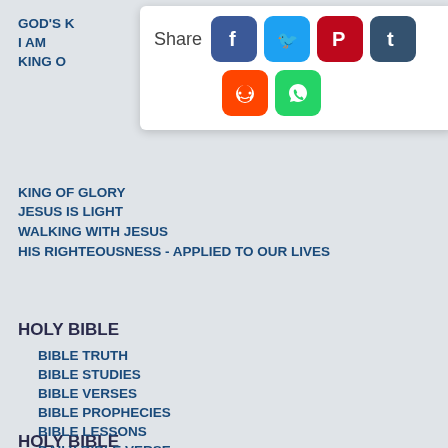[Figure (screenshot): Social media share popup with Share label and icons for Facebook, Twitter, Pinterest, Tumblr, Reddit, WhatsApp]
GOD'S K...
I AM
KING O...
KING OF GLORY
JESUS IS LIGHT
WALKING WITH JESUS
HIS RIGHTEOUSNESS - APPLIED TO OUR LIVES
HOLY BIBLE
BIBLE TRUTH
BIBLE STUDIES
BIBLE VERSES
BIBLE PROPHECIES
BIBLE LESSONS
DAILY BIBLE VERSE
ONLINE BIBLE
CHRISTIANITY